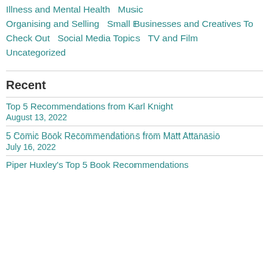Illness and Mental Health  Music  Organising and Selling  Small Businesses and Creatives To Check Out  Social Media Topics  TV and Film  Uncategorized
Recent
Top 5 Recommendations from Karl Knight
August 13, 2022
5 Comic Book Recommendations from Matt Attanasio
July 16, 2022
Piper Huxley's Top 5 Book Recommendations